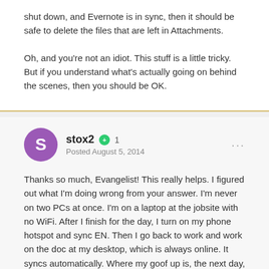shut down, and Evernote is in sync, then it should be safe to delete the files that are left in Attachments.
Oh, and you're not an idiot. This stuff is a little tricky. But if you understand what's actually going on behind the scenes, then you should be OK.
stox2  +1  Posted August 5, 2014
Thanks so much, Evangelist! This really helps.  I figured out what I'm doing wrong from your answer.  I'm never on two PCs at once.  I'm on a laptop at the jobsite with no WiFi.  After I finish for the day, I turn on my phone hotspot and sync EN.  Then I go back to work and work on the doc at my desktop, which is always online.  It syncs automatically.  Where my goof up is, the next day, I go back to the job site, and start up EN without syncing AGAIN.   The document has changed, but my laptop doesn't know it.  I enter in a bunch of new data, save it, and sync it over top of the work